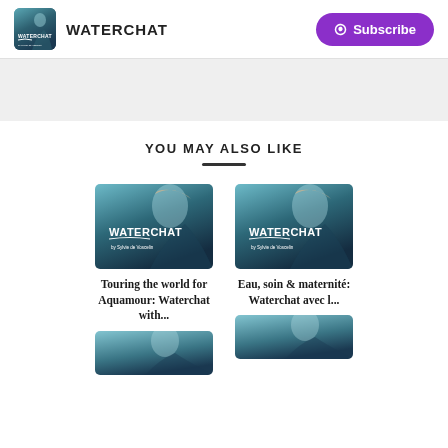WATERCHAT
[Figure (screenshot): Gray banner/advertisement area]
YOU MAY ALSO LIKE
[Figure (illustration): Waterchat podcast cover art - left card]
Touring the world for Aquamour: Waterchat with...
[Figure (illustration): Waterchat podcast cover art - right card]
Eau, soin & maternité: Waterchat avec l...
[Figure (illustration): Bottom left partial card thumbnail]
[Figure (illustration): Bottom right partial card thumbnail]